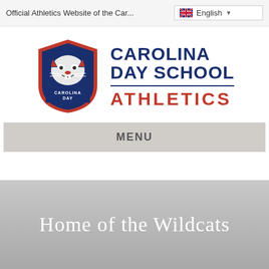Official Athletics Website of the Car... | English
[Figure (logo): Carolina Day School Athletics logo: navy blue shield with wildcat mascot and text CAROLINA DAY, beside text CAROLINA DAY SCHOOL ATHLETICS]
MENU
Home of the Wildcats